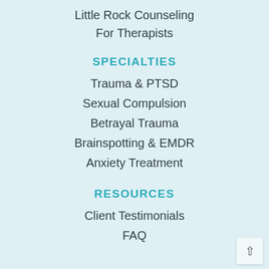Little Rock Counseling
For Therapists
SPECIALTIES
Trauma & PTSD
Sexual Compulsion
Betrayal Trauma
Brainspotting & EMDR
Anxiety Treatment
RESOURCES
Client Testimonials
FAQ